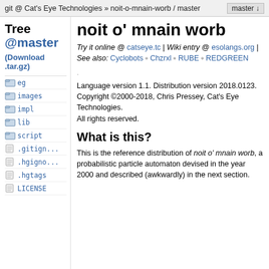git @ Cat's Eye Technologies » noit-o-mnain-worb / master    master
noit o' mnain worb
Tree @master (Download .tar.gz)
Try it online @ catseye.tc | Wiki entry @ esolangs.org | See also: Cyclobots ◦ Chzrxl ◦ RUBE ◦ REDGREEN
eg
images
impl
lib
script
.gitign...
.hgigno...
.hgtags
LICENSE
Language version 1.1. Distribution version 2018.0123.
Copyright ©2000-2018, Chris Pressey, Cat's Eye Technologies.
All rights reserved.
What is this?
This is the reference distribution of noit o' mnain worb, a probabilistic particle automaton devised in the year 2000 and described (awkwardly) in the next section.